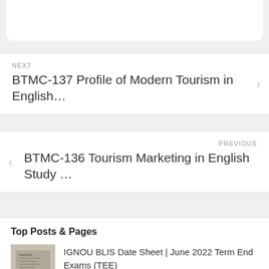NEXT
BTMC-137 Profile of Modern Tourism in English…
PREVIOUS
BTMC-136 Tourism Marketing in English Study …
Top Posts & Pages
[Figure (photo): Thumbnail photo of a notebook or study material]
IGNOU BLIS Date Sheet | June 2022 Term End Exams (TEE)